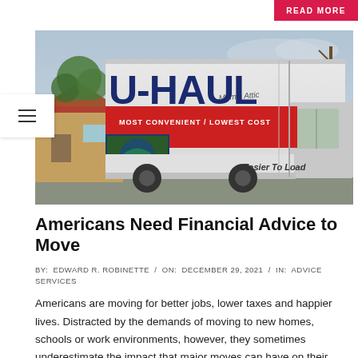[Figure (photo): A U-Haul moving truck photographed from the side, showing the U-HAUL branding in dark blue on the white truck body, a red stripe with white text reading 'MOST CONVENIENT / LOWEST COST', and 'Easier To Load' printed near the rear. A suburban neighborhood with houses and bare trees is visible in the background.]
Americans Need Financial Advice to Move
BY: EDWARD R. ROBINETTE / ON: DECEMBER 29, 2021 / IN: ADVICE SERVICES
Americans are moving for better jobs, lower taxes and happier lives. Distracted by the demands of moving to new homes, schools or work environments, however, they sometimes underestimate the impact that major moves can have on their